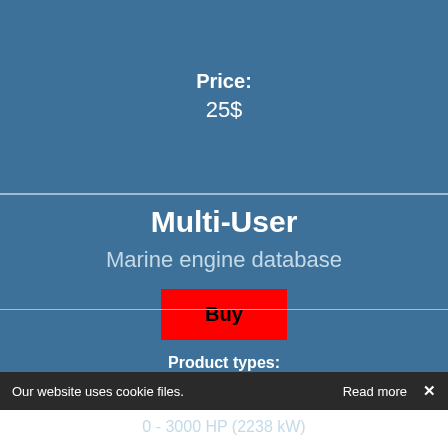Price: 25$
Multi-User
Marine engine database
Buy
Product types: inboard, outboard, sterndrive, saildrive, waterjet
Power range: 0 - 3000 HP (2238 kW)
Our website uses cookie files.   Read more   X